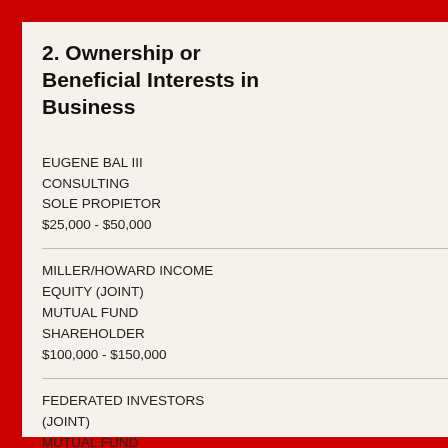2. Ownership or Beneficial Interests in Business
EUGENE BAL III CONSULTING
SOLE PROPIETOR
$25,000 - $50,000
MILLER/HOWARD INCOME EQUITY (JOINT)
MUTUAL FUND SHAREHOLDER
$100,000 - $150,000
FEDERATED INVESTORS (JOINT)
MUTUAL FUND SHAREHOLDER
$50,000 - $100,000
Bal
University of Hawaii
Board of Regents
Owners of AQR Managed Futures
Eugene Bal
University of Hawaii
Board of Regents
Eugene Bal
University of Hawaii